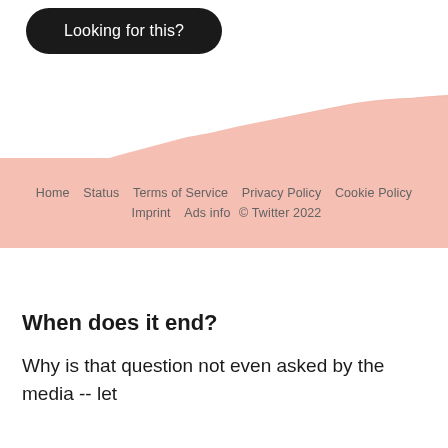[Figure (other): A salmon/pink area chart showing an upward trend from left to right, forming a wave-like shape that rises across the width of the image, positioned in the upper portion of the page behind a 'Looking for this?' button.]
Looking for this?
Home   Status   Terms of Service   Privacy Policy   Cookie Policy   Imprint   Ads info   © Twitter 2022
When does it end?
Why is that question not even asked by the media -- let